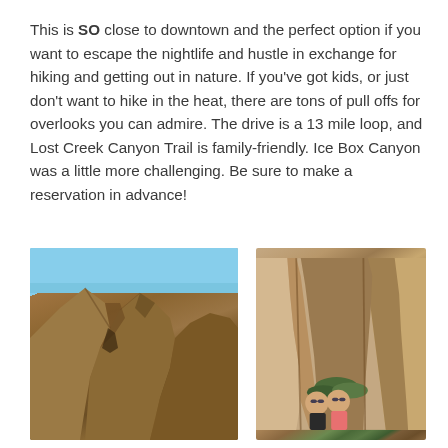This is SO close to downtown and the perfect option if you want to escape the nightlife and hustle in exchange for hiking and getting out in nature. If you've got kids, or just don't want to hike in the heat, there are tons of pull offs for overlooks you can admire. The drive is a 13 mile loop, and Lost Creek Canyon Trail is family-friendly. Ice Box Canyon was a little more challenging. Be sure to make a reservation in advance!
[Figure (photo): Close-up photo of rocky canyon walls with blue sky visible, tan and brown sandstone rocks]
[Figure (photo): Two women sitting among reddish canyon rocks with green vegetation visible in background, both wearing sunglasses]